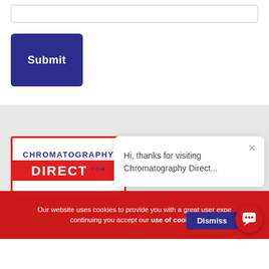[Figure (screenshot): Input text box near the top of the page]
[Figure (screenshot): Dark blue Submit button]
[Figure (logo): Chromatography Direct logo with blue text on top and red DIRECT.com banner]
[Figure (infographic): Social media icons: Facebook (f), Twitter bird, LinkedIn (in)]
[Figure (screenshot): Chat popup: Hi, thanks for visiting Chromatography Direct...]
© Copyright Chromatograph
Our website uses cookies to provide you with a great user expe... continuing you accept our use of cookies
[Figure (screenshot): Dismiss button on cookie bar]
[Figure (screenshot): Red chat bubble icon in bottom right]